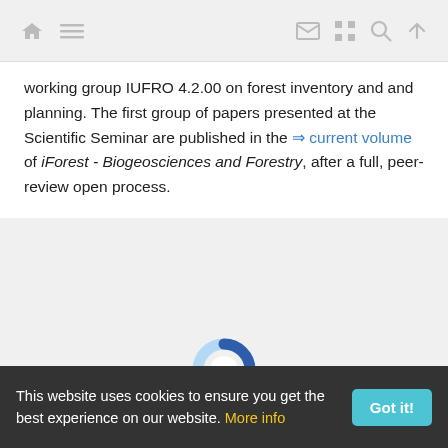[Navigation bar with home, menu, mail, grid, search, up icons]
working group IUFRO 4.2.00 on forest inventory and and planning. The first group of papers presented at the Scientific Seminar are published in the ⇒ current volume of iForest - Biogeosciences and Forestry, after a full, peer-review open process.
[Figure (other): Circular loading spinner graphic, light blue and dark blue donut segments]
[Figure (logo): Clarivate Analytics logo on the left and DOAJ (Directory of Open Access Journals) logo on the right, inside a white bordered box. Partially visible logos at bottom row.]
This website uses cookies to ensure you get the best experience on our website. More info | Got it!